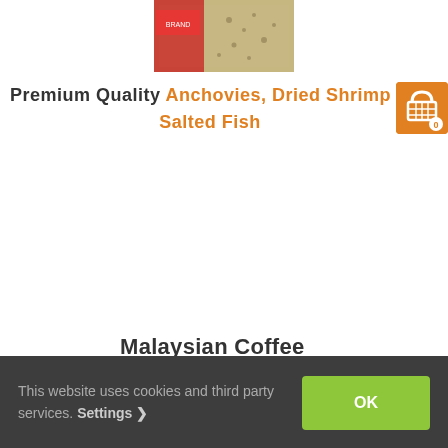[Figure (photo): Product image at top center showing a bag of anchovies/dried seafood with red and green packaging]
Premium Quality Anchovies, Dried Shrimp & Salted Fish
[Figure (other): Shopping cart icon with badge showing count 0, orange background, top right corner]
Malaysian Coffee Powder
This website uses cookies and third party services. Settings OK